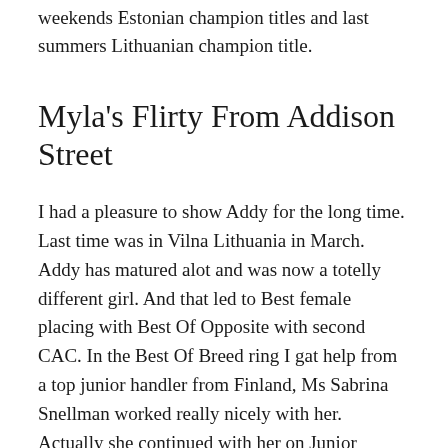weekends Estonian champion titles and last summers Lithuanian champion title.
Myla's Flirty From Addison Street
I had a pleasure to show Addy for the long time. Last time was in Vilna Lithuania in March. Addy has matured alot and was now a totelly different girl. And that led to Best female placing with Best Of Opposite with second CAC. In the Best Of Breed ring I gat help from a top junior handler from Finland, Ms Sabrina Snellman worked really nicely with her. Actually she continued with her on Junior Handler ring. About that little later....